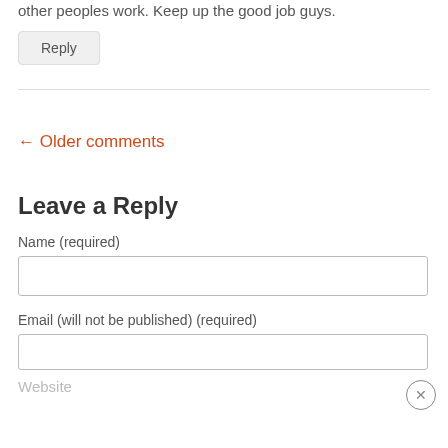other peoples work. Keep up the good job guys.
Reply
← Older comments
Leave a Reply
Name (required)
Email (will not be published) (required)
Website